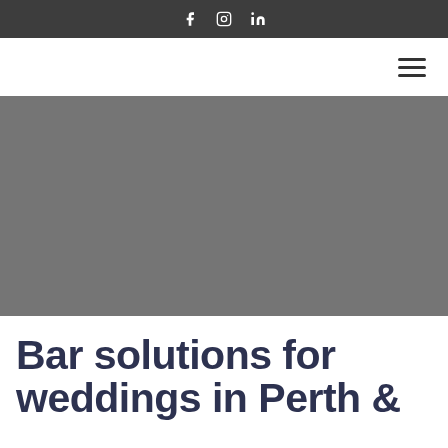f  IG  in
[Figure (screenshot): Navigation bar with hamburger menu icon on the right]
[Figure (photo): Large grey hero image placeholder]
Bar solutions for weddings in Perth &